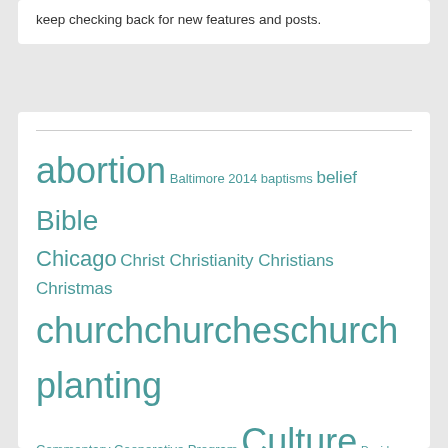keep checking back for new features and posts.
[Figure (infographic): Tag cloud of topics including abortion, Bible, church, Culture, evangelism, Faith, God, Illinois, Jesus, Marriage, Missions, Prayer, Politics, and many more, displayed in varying font sizes in teal/dark cyan color on white background.]